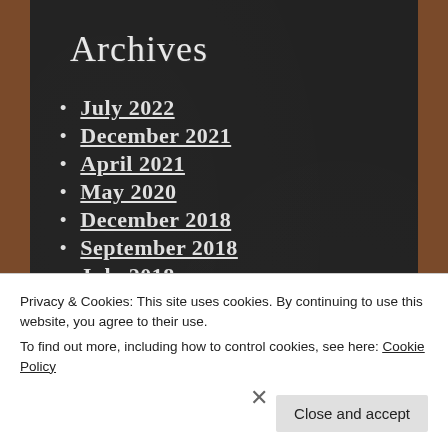Archives
July 2022
December 2021
April 2021
May 2020
December 2018
September 2018
July 2018
March 2018
January 2018
Privacy & Cookies: This site uses cookies. By continuing to use this website, you agree to their use.
To find out more, including how to control cookies, see here: Cookie Policy
Close and accept